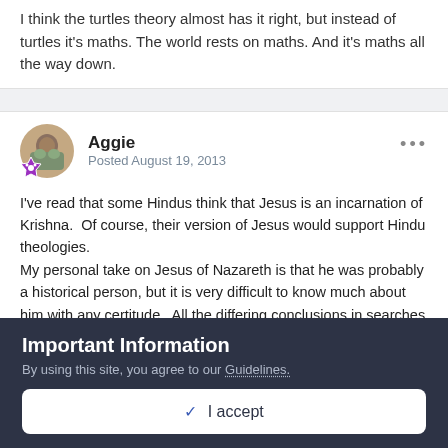I think the turtles theory almost has it right, but instead of turtles it's maths. The world rests on maths. And it's maths all the way down.
Aggie
Posted August 19, 2013
I've read that some Hindus think that Jesus is an incarnation of Krishna.  Of course, their version of Jesus would support Hindu theologies.
My personal take on Jesus of Nazareth is that he was probably a historical person, but it is very difficult to know much about him with any certitude.  All the differing conclusions in searches for the historical Jesus suggest to me that the quest is so
Important Information
By using this site, you agree to our Guidelines.
✓  I accept